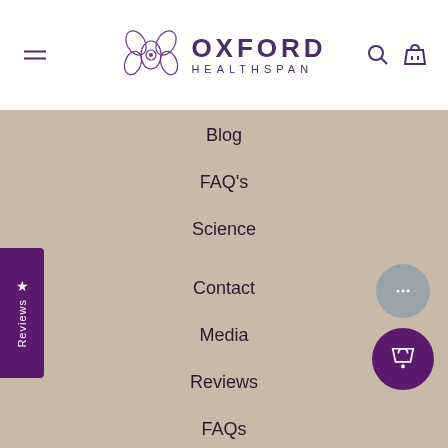[Figure (logo): Oxford Healthspan logo with orchid flower illustration and text 'OXFORD HEALTHSPAN']
Blog
FAQ's
Science
Contact
Media
Reviews
FAQs
Subscription FAQs
Affiliates
Our Certifications
Sourcing. Quality & Testing
Terms of Service